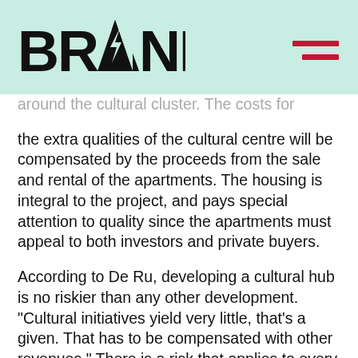BRAND
around the cultural cluster. The costs for the extra qualities of the cultural centre will be compensated by the proceeds from the sale and rental of the apartments. The housing is integral to the project, and pays special attention to quality since the apartments must appeal to both investors and private buyers.
According to De Ru, developing a cultural hub is no riskier than any other development. “Cultural initiatives yield very little, that’s a given. That has to be compensated with other revenues.” There is a risk that applies to every development: as long as the housing market is buoyant,